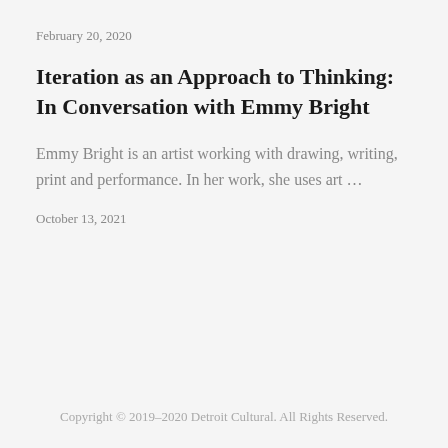February 20, 2020
Iteration as an Approach to Thinking: In Conversation with Emmy Bright
Emmy Bright is an artist working with drawing, writing, print and performance. In her work, she uses art ...
October 13, 2021
Copyright © 2019–2020 Detroit Cultural. All Rights Reserved.